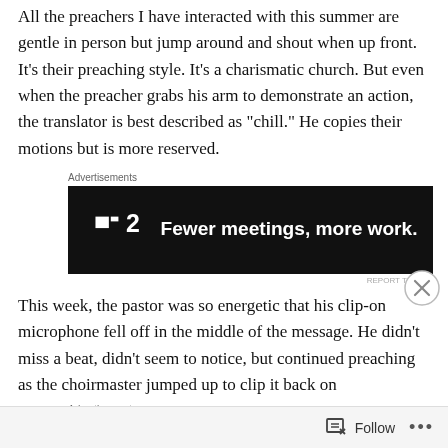All the preachers I have interacted with this summer are gentle in person but jump around and shout when up front. It's their preaching style. It's a charismatic church. But even when the preacher grabs his arm to demonstrate an action, the translator is best described as “chill.” He copies their motions but is more reserved.
[Figure (screenshot): Advertisement banner for Twist app: dark background with logo and text 'Fewer meetings, more work.']
This week, the pastor was so energetic that his clip-on microphone fell off in the middle of the message. He didn’t miss a beat, didn’t seem to notice, but continued preaching as the choirmaster jumped up to clip it back on
[Figure (screenshot): Second advertisement banner, partially visible, blue background with 'Your Journal' text and icon.]